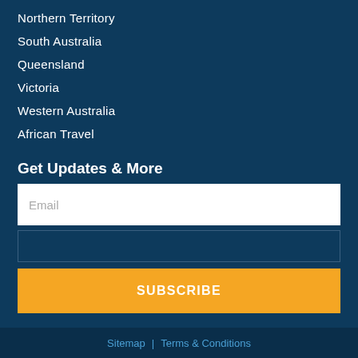Northern Territory
South Australia
Queensland
Victoria
Western Australia
African Travel
Get Updates & More
Email
SUBSCRIBE
Sitemap | Terms & Conditions